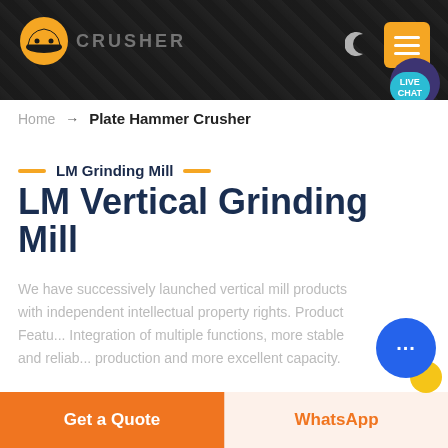[Figure (screenshot): Website header banner with dark rocky background, company logo (orange hard-hat icon), company name text, moon/night mode icon, orange hamburger menu button, teal live chat bubble, and purple blob.]
Home → Plate Hammer Crusher
— LM Grinding Mill —
LM Vertical Grinding Mill
We have successively launched vertical mill products with independent intellectual property rights. Product Featu... Integration of multiple functions, more stable and reliab... production and more excellent capacity.
Get a Quote
WhatsApp